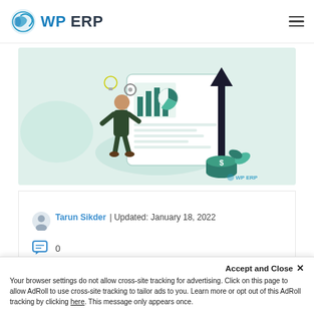WP ERP
[Figure (illustration): Isometric illustration showing a person interacting with a business dashboard/report panel with charts, a large upward arrow, a stack of coins, and a plant. Light green background. WP ERP logo watermark in bottom right.]
Tarun Sikder | Updated: January 18, 2022
0
Business Continuity and Disaster Recovery
Accept and Close ×
Your browser settings do not allow cross-site tracking for advertising. Click on this page to allow AdRoll to use cross-site tracking to tailor ads to you. Learn more or opt out of this AdRoll tracking by clicking here. This message only appears once.